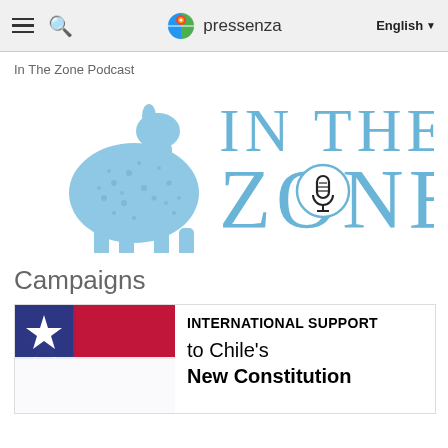pressenza   English
In The Zone Podcast
[Figure (logo): In The Zone Podcast logo with a decorative blue llama/camelid figure on the left and large light-blue text 'IN THE ZONE' on the right, with a microphone icon inside the letter O]
Campaigns
[Figure (photo): Chilean flag showing a white star on blue background, partially visible]
INTERNATIONAL SUPPORT to Chile's New Constitution